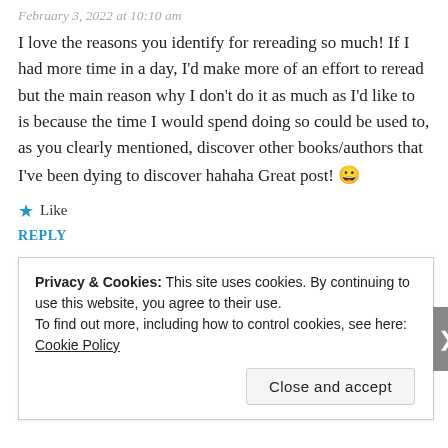February 3, 2022 at 10:10 am
I love the reasons you identify for rereading so much! If I had more time in a day, I'd make more of an effort to reread but the main reason why I don't do it as much as I'd like to is because the time I would spend doing so could be used to, as you clearly mentioned, discover other books/authors that I've been dying to discover hahaha Great post! 😀
★ Like
REPLY
Zezee says:
February 5, 2022 at 10:10 pm
Privacy & Cookies: This site uses cookies. By continuing to use this website, you agree to their use. To find out more, including how to control cookies, see here: Cookie Policy
Close and accept